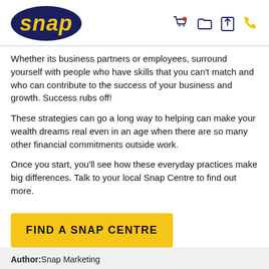[Figure (logo): Snap logo — dark navy oval with yellow italic 'snap' text, with shopping cart, folder, share, and phone icons top right]
Whether its business partners or employees, surround yourself with people who have skills that you can't match and who can contribute to the success of your business and growth. Success rubs off!
These strategies can go a long way to helping can make your wealth dreams real even in an age when there are so many other financial commitments outside work.
Once you start, you'll see how these everyday practices make big differences. Talk to your local Snap Centre to find out more.
FIND A SNAP CENTRE
Author: Snap Marketing